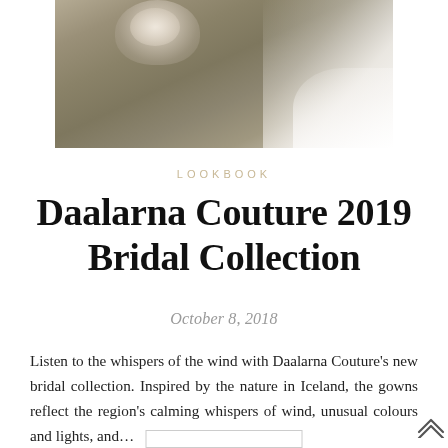[Figure (photo): Overhead/aerial view of a bridal gown with lace veil detail laid on textured mossy or sandy ground, white tulle fabric visible at right edge]
LOOKBOOK
Daalarna Couture 2019 Bridal Collection
October 8, 2018
Listen to the whispers of the wind with Daalarna Couture's new bridal collection. Inspired by the nature in Iceland, the gowns reflect the region's calming whispers of wind, unusual colours and lights, and...